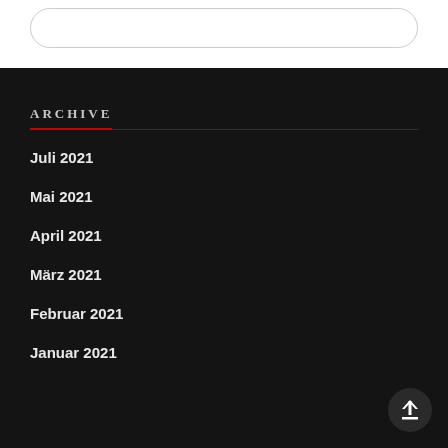ARCHIVE
Juli 2021
Mai 2021
April 2021
März 2021
Februar 2021
Januar 2021